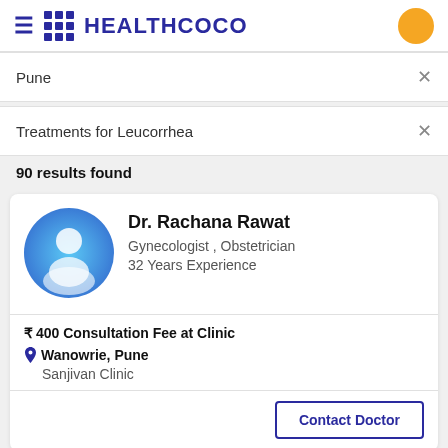HEALTHCOCO
Pune ×
Treatments for Leucorrhea ×
90 results found
[Figure (illustration): Blue circular avatar icon with white silhouette of a person]
Dr. Rachana Rawat
Gynecologist , Obstetrician
32 Years Experience
₹ 400 Consultation Fee at Clinic
Wanowrie, Pune
Sanjivan Clinic
Contact Doctor